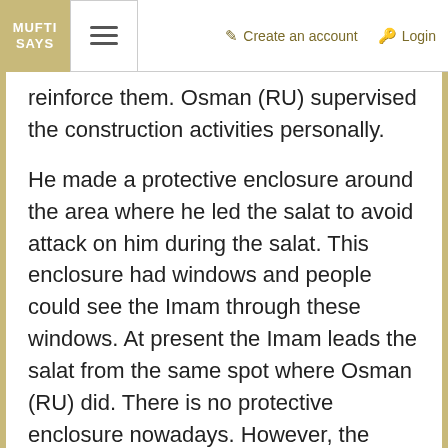MUFTI SAYS | Create an account | Login
reinforce them. Osman (RU) supervised the construction activities personally.
He made a protective enclosure around the area where he led the salat to avoid attack on him during the salat. This enclosure had windows and people could see the Imam through these windows. At present the Imam leads the salat from the same spot where Osman (RU) did. There is no protective enclosure nowadays. However, the security personnel are posted there before, during and after the salat to avoid any mishap.